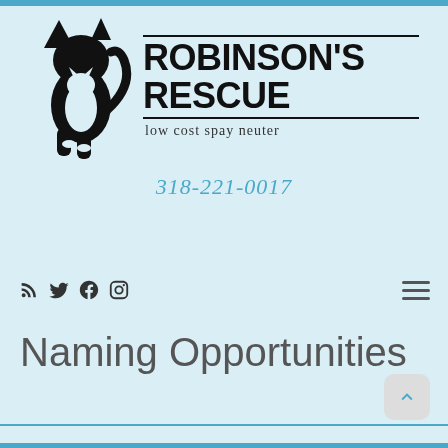[Figure (logo): Robinson's Rescue logo with silhouette of a dog and cat, text reads ROBINSON'S RESCUE, low cost spay neuter]
318-221-0017
[Figure (infographic): Social media icons: RSS feed, Twitter, Facebook, Instagram, and hamburger menu icon]
Naming Opportunities